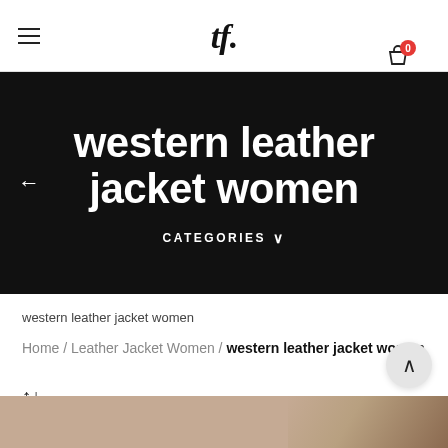tf. [logo] | hamburger menu | cart 0
western leather jacket women
CATEGORIES ∨
western leather jacket women
Home / Leather Jacket Women / western leather jacket women
↑↓
[Figure (photo): Partial view of product image at bottom of page]